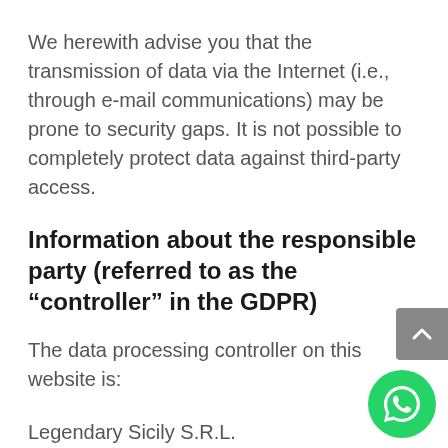We herewith advise you that the transmission of data via the Internet (i.e., through e-mail communications) may be prone to security gaps. It is not possible to completely protect data against third-party access.
Information about the responsible party (referred to as the “controller” in the GDPR)
The data processing controller on this website is:
Legendary Sicily S.R.L.
Inhaber: Edward Tronchet
Salita Francesco de Luna, 10